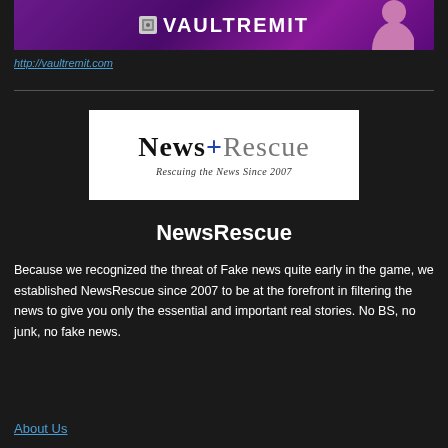[Figure (logo): VaultRemit banner advertisement with purple/magenta background and person silhouette on right]
http://vaultremit.com
[Figure (logo): News+Rescue logo on white background with tagline 'Rescuing the News Since 2007']
NewsRescue
Because we recognized the threat of Fake news quite early in the game, we established NewsRescue since 2007 to be at the forefront in filtering the news to give you only the essential and important real stories. No BS, no junk, no fake news.
About Us